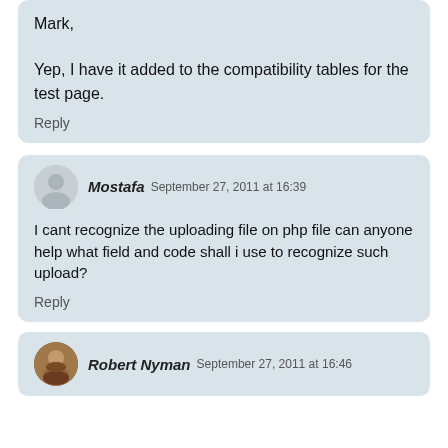Mark,

Yep, I have it added to the compatibility tables for the test page.
Reply
Mostafa  September 27, 2011 at 16:39
I cant recognize the uploading file on php file can anyone help what field and code shall i use to recognize such upload?
Reply
Robert Nyman  September 27, 2011 at 16:46